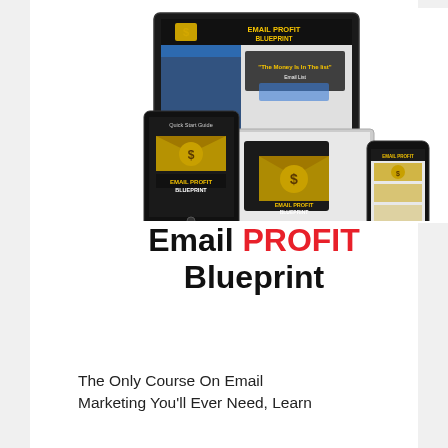[Figure (illustration): Mock-up of multiple devices (desktop monitor, laptop, tablet, smartphone) all displaying the Email Profit Blueprint branding — envelope with dollar sign logo and product name.]
Email PROFIT Blueprint
The Only Course On Email Marketing You'll Ever Need, Learn